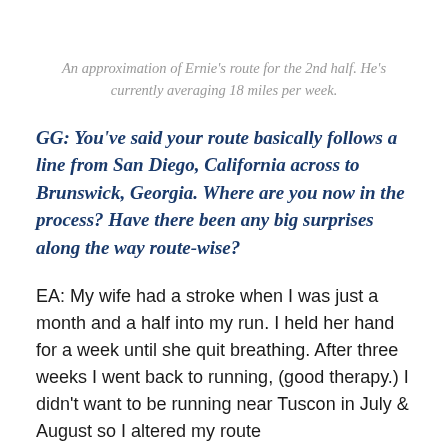An approximation of Ernie's route for the 2nd half. He's currently averaging 18 miles per week.
GG: You've said your route basically follows a line from San Diego, California across to Brunswick, Georgia. Where are you now in the process? Have there been any big surprises along the way route-wise?
EA: My wife had a stroke when I was just a month and a half into my run. I held her hand for a week until she quit breathing. After three weeks I went back to running, (good therapy.) I didn't want to be running near Tuscon in July & August so I altered my route